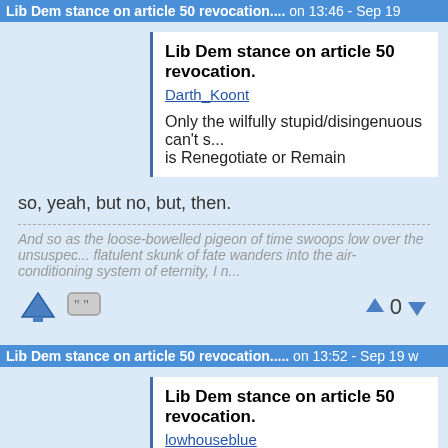Lib Dem stance on article 50 revocation.... on 13:46 - Sep 19
Lib Dem stance on article 50 revocation.
Darth_Koont
Only the wilfully stupid/disingenuous can't s... is Renegotiate or Remain
so, yeah, but no, but, then.
And so as the loose-bowelled pigeon of time swoops low over the unsuspec... flatulent skunk of fate wanders into the air-conditioning system of eternity, I n...
Lib Dem stance on article 50 revocation..... on 13:52 - Sep 19 w
Lib Dem stance on article 50 revocation.
lowhouseblue
so, yeah, but no, but, then.
It's pretty straightforward isn't it? How else do you address th...